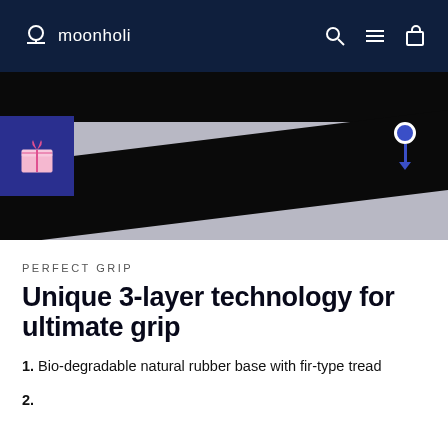moonholi
[Figure (screenshot): Website screenshot showing moonholi navigation bar with logo and icons, hero product image with dark diagonal bar, gift badge, and pin icon]
PERFECT GRIP
Unique 3-layer technology for ultimate grip
1. Bio-degradable natural rubber base with fir-type tread
2. (partially visible)